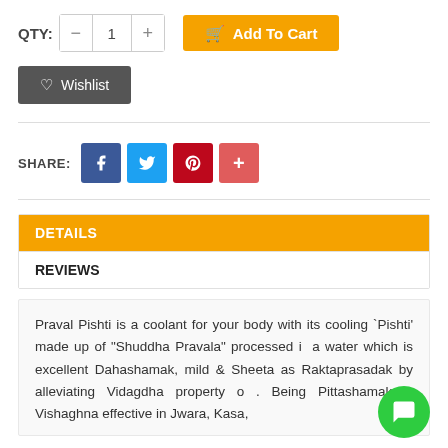QTY: — 1 + [Add To Cart button]
Wishlist
SHARE: [Facebook] [Twitter] [Pinterest] [+]
DETAILS
REVIEWS
Praval Pishti is a coolant for your body with its cooling 'Pishti' made up of "Shuddha Pravala" processed in a water which is excellent Dahashamak, mild & Sheeta as Raktaprasadak by alleviating Vidagdha property of a. Being Pittashamak & Vishaghna effective in Jwara, Kasa,